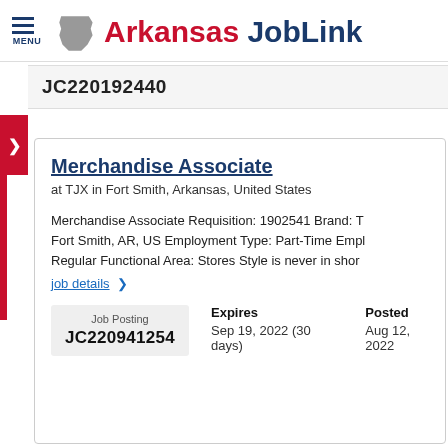Arkansas JobLink
JC220192440
Merchandise Associate
at TJX in Fort Smith, Arkansas, United States
Merchandise Associate Requisition: 1902541 Brand: T... Fort Smith, AR, US Employment Type: Part-Time Empl... Regular Functional Area: Stores Style is never in shor...
job details  >
| Job Posting | Expires | Posted |
| --- | --- | --- |
| JC220941254 | Sep 19, 2022 (30 days) | Aug 12, 2022 |